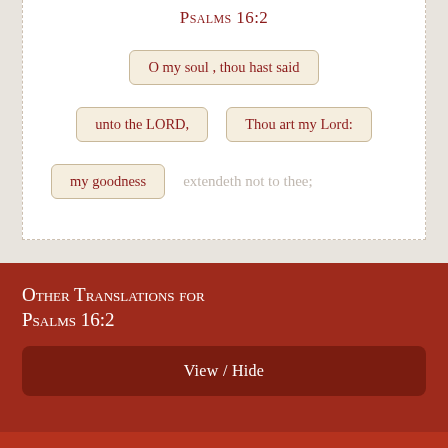Psalms 16:2
O my soul , thou hast said
unto the LORD,
Thou art my Lord:
my goodness
extendeth not to thee;
Other Translations for Psalms 16:2
View / Hide